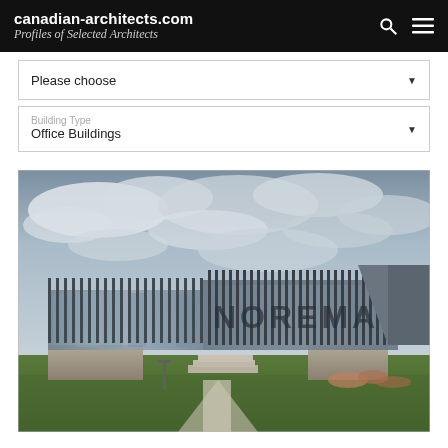canadian-architects.com
Profiles of Selected Architects
Please choose
Building Type
Office Buildings
[Figure (photo): Exterior photograph of a modern office building with glass curtain wall facade, vertical metal fins/screens, concrete base, green lawn, and cloudy sky. Large lettering visible through the facade screen.]